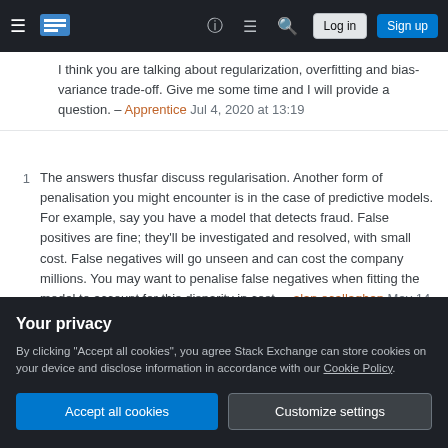Stack Exchange navigation bar with hamburger menu, logo, help, chat, search icons, Log in and Sign up buttons
I think you are talking about regularization, overfitting and bias-variance trade-off. Give me some time and I will provide a question. – Apprentice Jul 4, 2020 at 13:19
1  The answers thusfar discuss regularisation. Another form of penalisation you might encounter is in the case of predictive models. For example, say you have a model that detects fraud. False positives are fine; they'll be investigated and resolved, with small cost. False negatives will go unseen and can cost the company millions. You may want to penalise false negatives when fitting the model to account for this disparity in cost. – alan ocallaghan May 14, 2021 at
Your privacy
By clicking "Accept all cookies", you agree Stack Exchange can store cookies on your device and disclose information in accordance with our Cookie Policy.
Accept all cookies  Customize settings